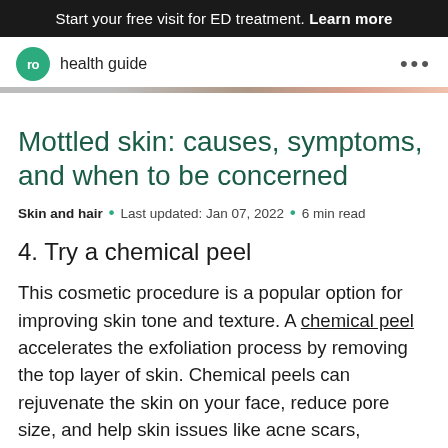Start your free visit for ED treatment. Learn more
ro health guide
Mottled skin: causes, symptoms, and when to be concerned
Skin and hair · Last updated: Jan 07, 2022 · 6 min read
4. Try a chemical peel
This cosmetic procedure is a popular option for improving skin tone and texture. A chemical peel accelerates the exfoliation process by removing the top layer of skin. Chemical peels can rejuvenate the skin on your face, reduce pore size, and help skin issues like acne scars, rosacea, or pigmentary